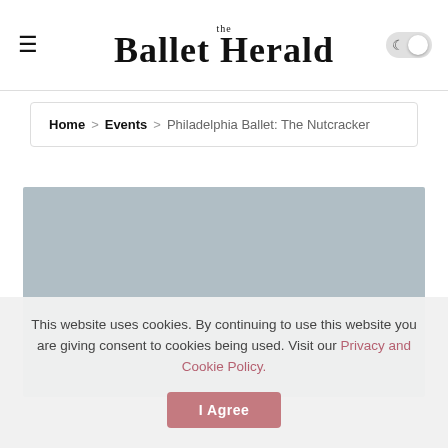the Ballet Herald
Home > Events > Philadelphia Ballet: The Nutcracker
[Figure (photo): Large placeholder image area in light blue-grey color, likely a photo of the Philadelphia Ballet Nutcracker performance]
This website uses cookies. By continuing to use this website you are giving consent to cookies being used. Visit our Privacy and Cookie Policy. I Agree